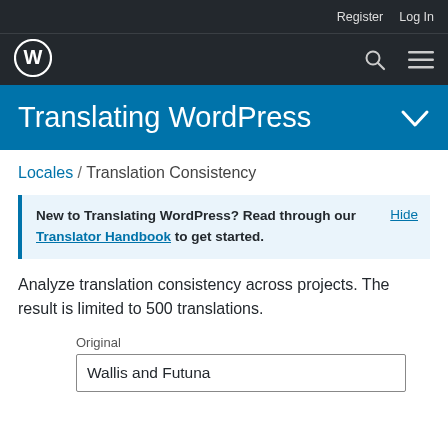Register  Log In
Translating WordPress
Locales / Translation Consistency
New to Translating WordPress? Read through our Translator Handbook to get started.  Hide
Analyze translation consistency across projects. The result is limited to 500 translations.
Original
Wallis and Futuna